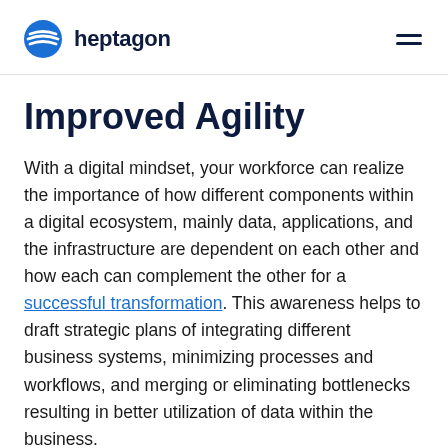heptagon
Improved Agility
With a digital mindset, your workforce can realize the importance of how different components within a digital ecosystem, mainly data, applications, and the infrastructure are dependent on each other and how each can complement the other for a successful transformation. This awareness helps to draft strategic plans of integrating different business systems, minimizing processes and workflows, and merging or eliminating bottlenecks resulting in better utilization of data within the business.